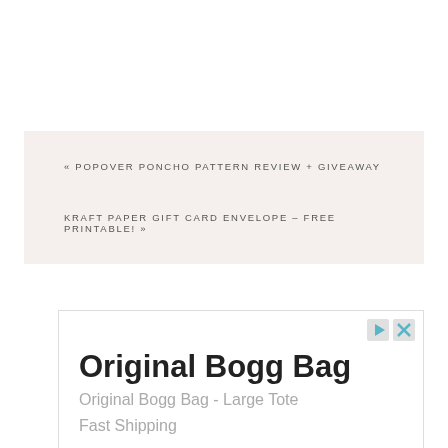« POPOVER PONCHO PATTERN REVIEW + GIVEAWAY
KRAFT PAPER GIFT CARD ENVELOPE – FREE PRINTABLE! »
[Figure (screenshot): Advertisement box showing 'Original Bogg Bag' product with subtitle 'Original Bogg Bag - Large Tote' and 'Fast Shipping', with ad icons in top right corner]